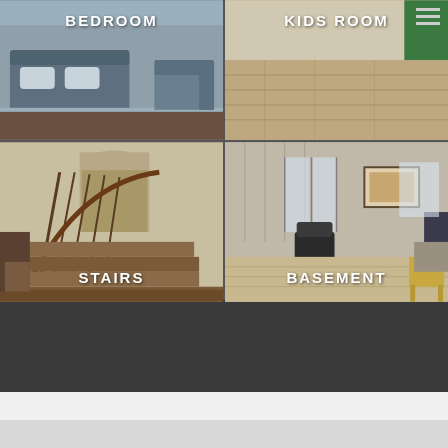[Figure (photo): 2x2 grid of interior room photos: Bedroom (top left), Kids Room (top right), Stairs (bottom left), Basement (bottom right)]
BEDROOM
KIDS ROOM
STAIRS
BASEMENT